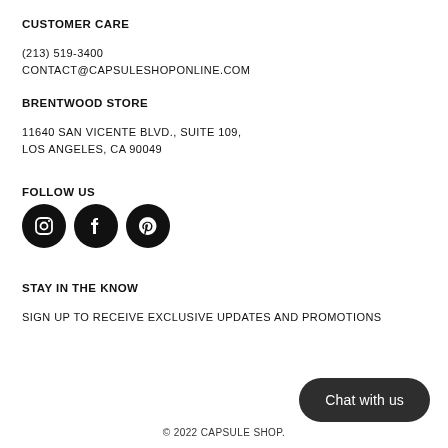CUSTOMER CARE
(213) 519-3400
CONTACT@CAPSULESHOPONLINE.COM
BRENTWOOD STORE
11640 SAN VICENTE BLVD., SUITE 109,
LOS ANGELES, CA 90049
FOLLOW US
[Figure (illustration): Three social media icons (Instagram, Facebook, Pinterest) as white icons on black circles]
STAY IN THE KNOW
SIGN UP TO RECEIVE EXCLUSIVE UPDATES AND PROMOTIONS
Chat with us
© 2022 CAPSULE SHOP.